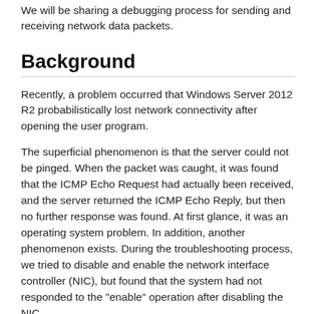We will be sharing a debugging process for sending and receiving network data packets.
Background
Recently, a problem occurred that Windows Server 2012 R2 probabilistically lost network connectivity after opening the user program.
The superficial phenomenon is that the server could not be pinged. When the packet was caught, it was found that the ICMP Echo Request had actually been received, and the server returned the ICMP Echo Reply, but then no further response was found. At first glance, it was an operating system problem. In addition, another phenomenon exists. During the troubleshooting process, we tried to disable and enable the network interface controller (NIC), but found that the system had not responded to the "enable" operation after disabling the NIC.